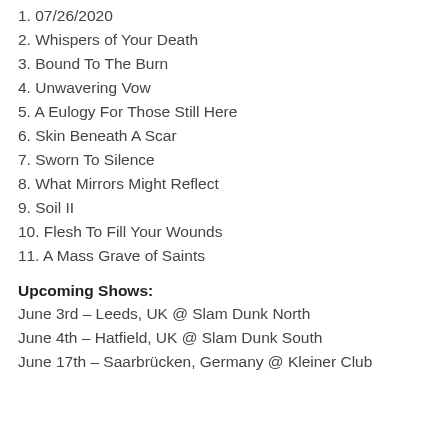1. 07/26/2020
2. Whispers of Your Death
3. Bound To The Burn
4. Unwavering Vow
5. A Eulogy For Those Still Here
6. Skin Beneath A Scar
7. Sworn To Silence
8. What Mirrors Might Reflect
9. Soil II
10. Flesh To Fill Your Wounds
11. A Mass Grave of Saints
Upcoming Shows:
June 3rd – Leeds, UK @ Slam Dunk North
June 4th – Hatfield, UK @ Slam Dunk South
June 17th – Saarbrücken, Germany @ Kleiner Club